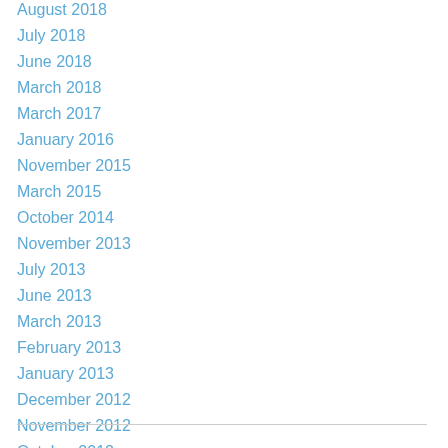August 2018
July 2018
June 2018
March 2018
March 2017
January 2016
November 2015
March 2015
October 2014
November 2013
July 2013
June 2013
March 2013
February 2013
January 2013
December 2012
November 2012
October 2012